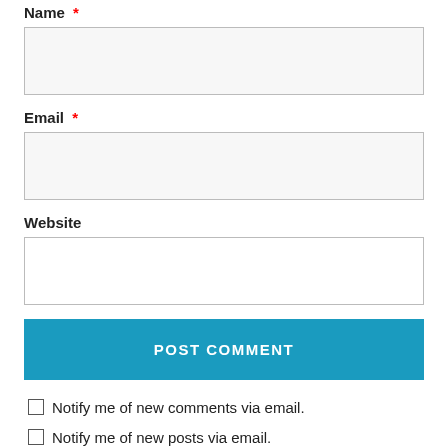Name *
Email *
Website
POST COMMENT
Notify me of new comments via email.
Notify me of new posts via email.